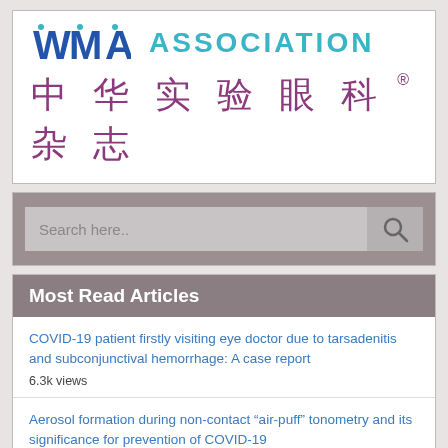[Figure (logo): WMA Association logo with blue WMA letters and teal ASSOCIATION text, plus Chinese characters 中华实验眼科杂志 in purple with registered trademark symbol]
[Figure (screenshot): Search bar with placeholder text 'Search here...' and a search icon button on gray background]
Most Read Articles
COVID-19 patient firstly visiting eye doctor due to tarsadenitis and subconjunctival hemorrhage: A case report
6.3k views
Aerosol formation during non-contact “air-puff” tonometry and its significance for prevention of COVID-19
3.4k views
Aerosol formation during non-contact “air-puff” tonometry and its significance for prevention of COVID-19
2.4k views